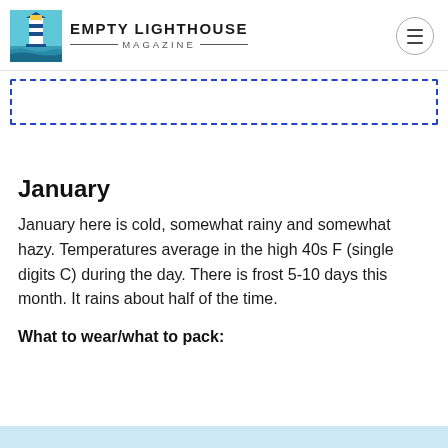EMPTY LIGHTHOUSE MAGAZINE
[Figure (other): Dotted blue dashed rectangle border outline (advertisement or placeholder box)]
January
January here is cold, somewhat rainy and somewhat hazy. Temperatures average in the high 40s F (single digits C) during the day. There is frost 5-10 days this month. It rains about half of the time.
What to wear/what to pack: